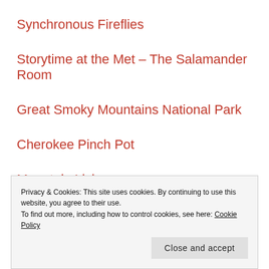Synchronous Fireflies
Storytime at the Met – The Salamander Room
Great Smoky Mountains National Park
Cherokee Pinch Pot
Mountain Living
Great Smoky Mountains National Park Cl…
Privacy & Cookies: This site uses cookies. By continuing to use this website, you agree to their use.
To find out more, including how to control cookies, see here: Cookie Policy
Close and accept